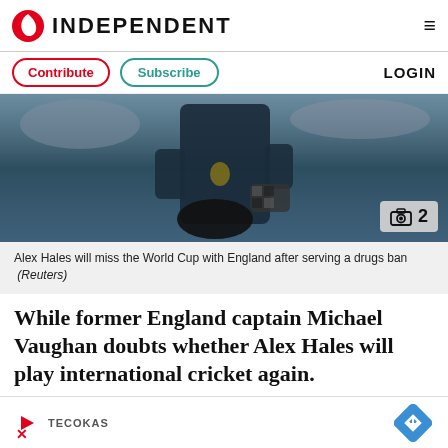INDEPENDENT
Contribute  Subscribe  LOGIN
[Figure (photo): Alex Hales cricket player holding helmet, wearing England kit, stadium seating in background. Camera icon badge with number 2 in bottom right corner.]
Alex Hales will miss the World Cup with England after serving a drugs ban (Reuters)
While former England captain Michael Vaughan doubts whether Alex Hales will play international cricket again.
“I don’t know how he comes back from this,”
[Figure (other): Advertisement banner showing Tecokas brand logo with play button icon and blue diamond navigation arrow icon]